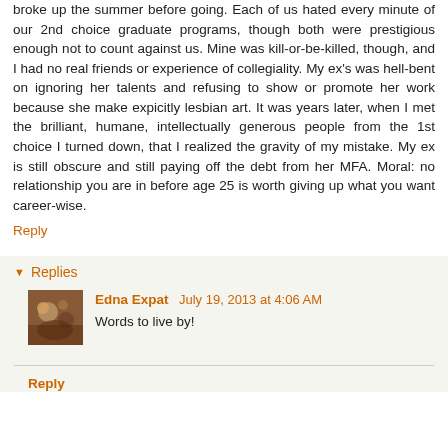broke up the summer before going. Each of us hated every minute of our 2nd choice graduate programs, though both were prestigious enough not to count against us. Mine was kill-or-be-killed, though, and I had no real friends or experience of collegiality. My ex's was hell-bent on ignoring her talents and refusing to show or promote her work because she make expicitly lesbian art. It was years later, when I met the brilliant, humane, intellectually generous people from the 1st choice I turned down, that I realized the gravity of my mistake. My ex is still obscure and still paying off the debt from her MFA. Moral: no relationship you are in before age 25 is worth giving up what you want career-wise.
Reply
Replies
Edna Expat July 19, 2013 at 4:06 AM
Words to live by!
Reply